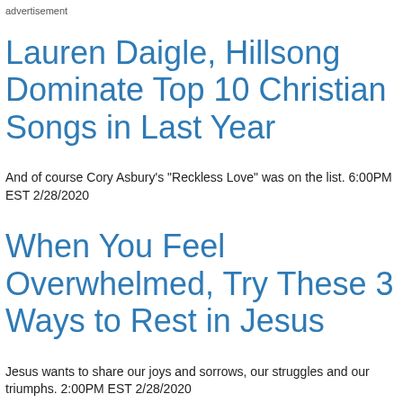advertisement
Lauren Daigle, Hillsong Dominate Top 10 Christian Songs in Last Year
And of course Cory Asbury's "Reckless Love" was on the list. 6:00PM EST 2/28/2020
When You Feel Overwhelmed, Try These 3 Ways to Rest in Jesus
Jesus wants to share our joys and sorrows, our struggles and our triumphs. 2:00PM EST 2/28/2020